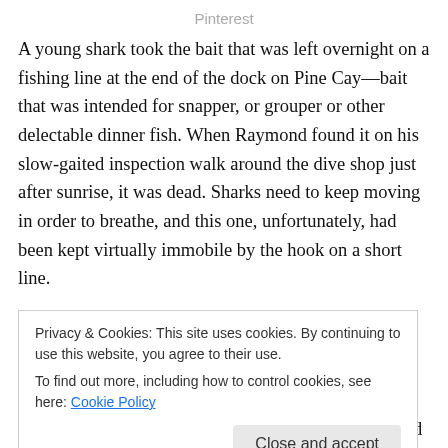Pinterest
A young shark took the bait that was left overnight on a fishing line at the end of the dock on Pine Cay—bait that was intended for snapper, or grouper or other delectable dinner fish. When Raymond found it on his slow-gaited inspection walk around the dive shop just after sunrise, it was dead. Sharks need to keep moving in order to breathe, and this one, unfortunately, had been kept virtually immobile by the hook on a short line.
Raymond hauled the creature in, all six feet and hundred
and dried the rest. But at nineteen, tall lanky Raymond
Privacy & Cookies: This site uses cookies. By continuing to use this website, you agree to their use.
To find out more, including how to control cookies, see here: Cookie Policy